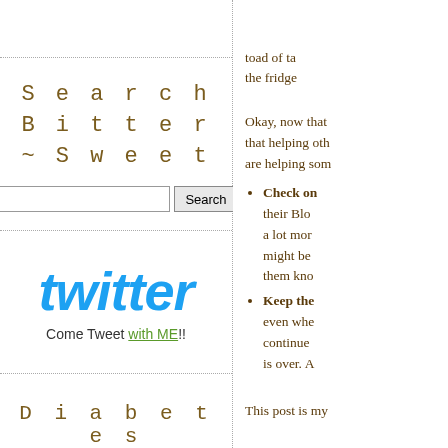toad of ta... the fridge...
[Figure (screenshot): Search widget with title 'Search Bitter~Sweet' and a search input box with Search button]
[Figure (logo): Twitter logo in blue italic with text 'Come Tweet with ME!!']
Diabetes
Okay, now that... that helping oth... are helping som...
Check on... their Blo... a lot mor... might be... them kno...
Keep the... even whe... continue... is over. A...
This post is my...